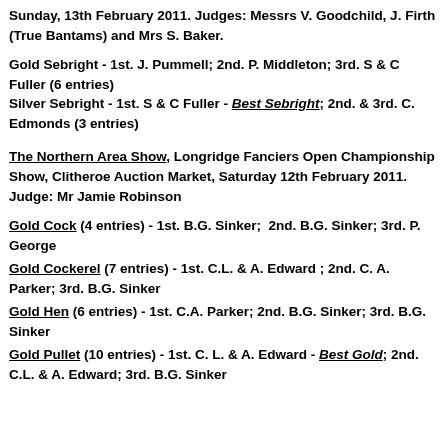Sunday, 13th February 2011. Judges: Messrs V. Goodchild, J. Firth (True Bantams) and Mrs S. Baker.
Gold Sebright - 1st. J. Pummell; 2nd. P. Middleton; 3rd. S & C Fuller (6 entries)
Silver Sebright - 1st. S & C Fuller - Best Sebright; 2nd. & 3rd. C. Edmonds (3 entries)
The Northern Area Show, Longridge Fanciers Open Championship Show, Clitheroe Auction Market, Saturday 12th February 2011. Judge: Mr Jamie Robinson
Gold Cock (4 entries) - 1st. B.G. Sinker; 2nd. B.G. Sinker; 3rd. P. George
Gold Cockerel (7 entries) - 1st. C.L. & A. Edward ; 2nd. C. A. Parker; 3rd. B.G. Sinker
Gold Hen (6 entries) - 1st. C.A. Parker; 2nd. B.G. Sinker; 3rd. B.G. Sinker
Gold Pullet (10 entries) - 1st. C. L. & A. Edward - Best Gold; 2nd. C.L. & A. Edward; 3rd. B.G. Sinker